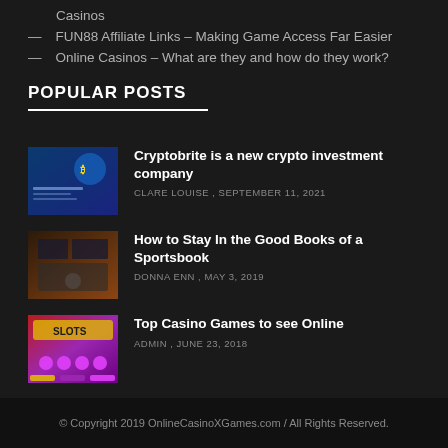Casinos
FUN88 Affiliate Links – Making Game Access Far Easier
Online Casinos – What are they and how do they work?
POPULAR POSTS
[Figure (photo): Cryptobrite crypto investment company promotional image]
Cryptobrite is a new crypto investment company
CLARE LOUISE , SEPTEMBER 11, 2021
[Figure (photo): Sportsbook interior with large screens]
How to Stay In the Good Books of a Sportsbook
DONNA ENN , MAY 3, 2019
[Figure (photo): Online casino slot games screenshot]
Top Casino Games to see Online
ADMIN , JUNE 23, 2018
© Copyright 2019 OnlineCasinoXGames.com / All Rights Reserved.